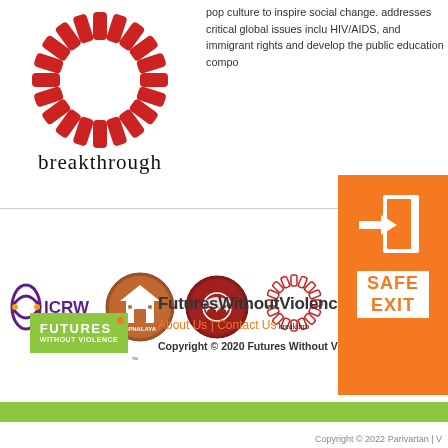[Figure (logo): Breakthrough organization logo — circular sunburst in red/orange with 'breakthrough' text below in serif font]
pop culture to inspire social change. addresses critical global issues inclu HIV/AIDS, and immigrant rights and develop the public education compo
[Figure (logo): Orange square safe exit icon with arrow entering a door]
[Figure (logo): ICRW logo — purple double helix with dots and 'ICRW' text]
[Figure (logo): Apnalaya logo — house icon in terracotta/red circle with 'APNALAYA' text]
[Figure (logo): Circular eagle/bird stamp logo in red]
[Figure (logo): Breakthrough circular sunburst logo (smaller, outline style) with 'breakthrough' text]
SAFE EXIT
[Figure (logo): Futures Without Violence green logo box]
FuturesWithoutViolence.org
About Us | Contact Us
Copyright © 2020 Futures Without Violence
Copyright © 2022 Parivartan | V